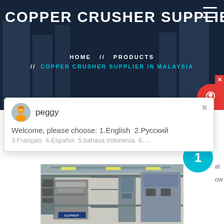COPPER CRUSHER SUPPLIER IN
HOME // PRODUCTS // COPPER CRUSHER SUPPLIER IN MALAYSIA
[Figure (screenshot): Chat popup with agent avatar named 'peggy', welcome message: 'Welcome, please choose: 1.English 2.Русский 3.Français 4.Español 5.bahasa Indonesia 6...' and a close button]
[Figure (photo): Industrial crusher/mining equipment machinery photograph]